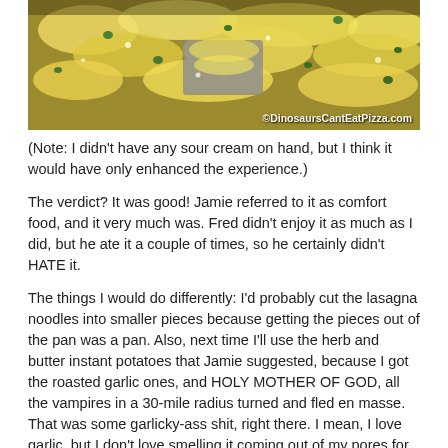[Figure (photo): Close-up photo of a cooked dish with yellow/white scrambled egg-like food and green pieces, with a gray container/tray visible. Watermark: ©DinosaursCantEatPizza.com]
(Note: I didn't have any sour cream on hand, but I think it would have only enhanced the experience.)
The verdict? It was good! Jamie referred to it as comfort food, and it very much was. Fred didn't enjoy it as much as I did, but he ate it a couple of times, so he certainly didn't HATE it.
The things I would do differently: I'd probably cut the lasagna noodles into smaller pieces because getting the pieces out of the pan was a pan. Also, next time I'll use the herb and butter instant potatoes that Jamie suggested, because I got the roasted garlic ones, and HOLY MOTHER OF GOD, all the vampires in a 30-mile radius turned and fled en masse. That was some garlicky-ass shit, right there. I mean, I love garlic, but I don't love smelling it coming out of my pores for two days afterward, thanks.
In summation: two thumbs up from me, one and a half thumbs up from Fred, definitely comfort food, and I